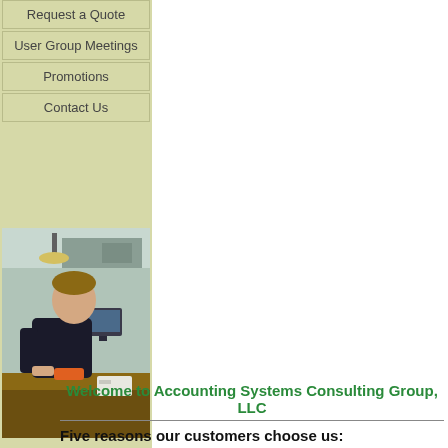Request a Quote
User Group Meetings
Promotions
Contact Us
[Figure (photo): Person standing at a desk working with a computer and tools in an office/workshop setting]
Welcome to Accounting Systems Consulting Group, LLC
Five reasons our customers choose us:
Our high degree of integrity
Our committment to our local market